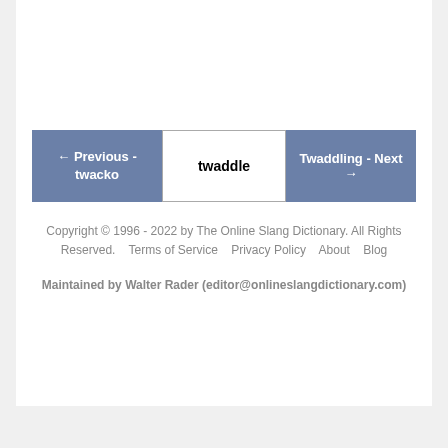← Previous - twacko   twaddle   Twaddling - Next →
Copyright © 1996 - 2022 by The Online Slang Dictionary. All Rights Reserved.    Terms of Service    Privacy Policy    About    Blog

Maintained by Walter Rader (editor@onlineslangdictionary.com)